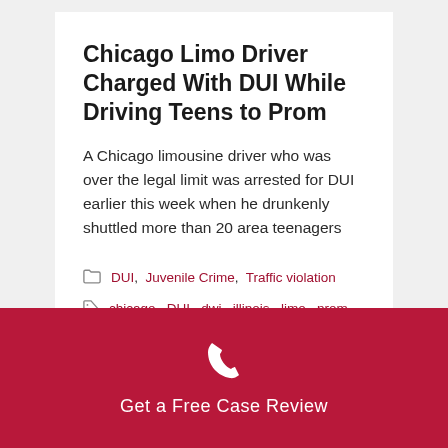Chicago Limo Driver Charged With DUI While Driving Teens to Prom
A Chicago limousine driver who was over the legal limit was arrested for DUI earlier this week when he drunkenly shuttled more than 20 area teenagers
Categories: DUI, Juvenile Crime, Traffic violation
Tags: chicago, DUI, dwi, illinois, limo, prom, teens
Get a Free Case Review